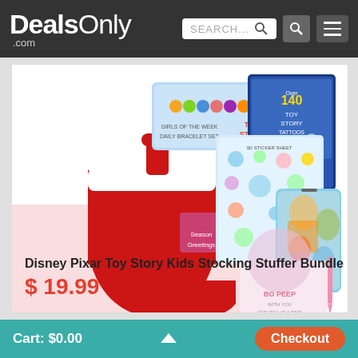DealsOnly.com — SEARCH... [search icon] [menu icon]
[Figure (photo): Disney Pixar Toy Story Kids Stocking Stuffer Bundle product photo showing a red Christmas stocking, Toy Story sticker sheet, Toy Story tattoo book, Toy Story coin bank, Toy Story bracelet set, and Bo Peep notebook with pen]
Disney Pixar Toy Story Kids Stocking Stuffer Bundle
$19.99
Cart: $0.00   ^   Checkout